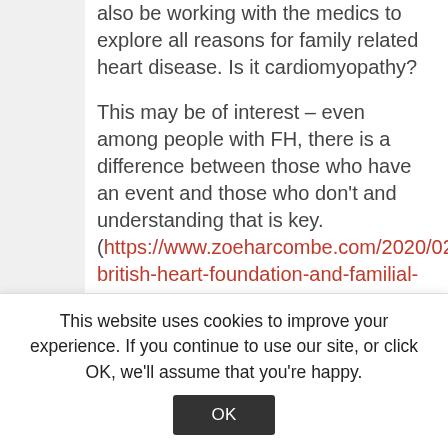also be working with the medics to explore all reasons for family related heart disease. Is it cardiomyopathy?
This may be of interest – even among people with FH, there is a difference between those who have an event and those who don't and understanding that is key. (https://www.zoeharcombe.com/2020/02/the-british-heart-foundation-and-familial-hypercholesterolemia/)
This is why a plant based diet (high in plant sterols) would lower cholesterol
This website uses cookies to improve your experience. If you continue to use our site, or click OK, we'll assume that you're happy.